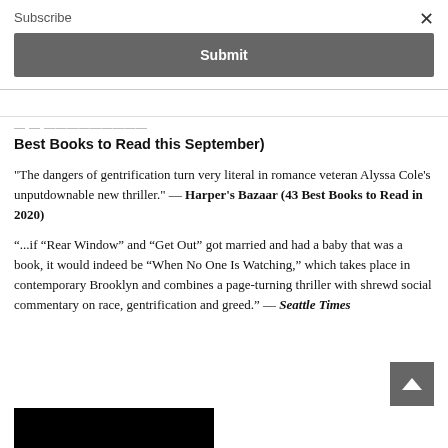Subscribe
Submit
Best Books to Read this September)
"The dangers of gentrification turn very literal in romance veteran Alyssa Cole’s unputdownable new thriller." — Harper’s Bazaar (43 Best Books to Read in 2020)
“...if “Rear Window” and “Get Out” got married and had a baby that was a book, it would indeed be “When No One Is Watching,” which takes place in contemporary Brooklyn and combines a page-turning thriller with shrewd social commentary on race, gentrification and greed.” — Seattle Times
[Figure (photo): Black rectangular image strip at the bottom left of the page]